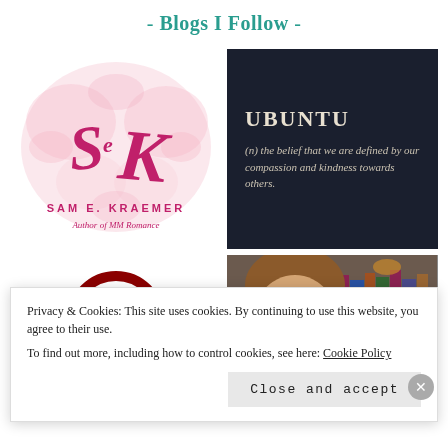- Blogs I Follow -
[Figure (logo): Sam E. Kraemer author logo with floral watercolor design and script letters SEK, text 'SAM E. KRAEMER Author of MM Romance']
[Figure (illustration): Dark navy card with large serif text 'UBUNTU' and definition: '(n) the belief that we are defined by our compassion and kindness towards others.']
[Figure (illustration): Dark red circular skull/headphone icon on white background]
[Figure (photo): Photo of a person in front of a bookshelf filled with colorful books]
Privacy & Cookies: This site uses cookies. By continuing to use this website, you agree to their use.
To find out more, including how to control cookies, see here: Cookie Policy
Close and accept